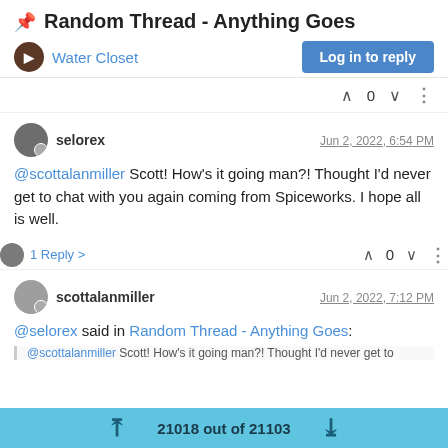📌 Random Thread - Anything Goes
Water Closet
Log in to reply
0
selorex   Jun 2, 2022, 6:54 PM
@scottalanmiller Scott! How's it going man?! Thought I'd never get to chat with you again coming from Spiceworks. I hope all is well.
1 Reply >   0
scottalanmiller   Jun 2, 2022, 7:12 PM
@selorex said in Random Thread - Anything Goes:
@scottalanmiller Scott! How's it going man?! Thought I'd never get to
21018 out of 21103